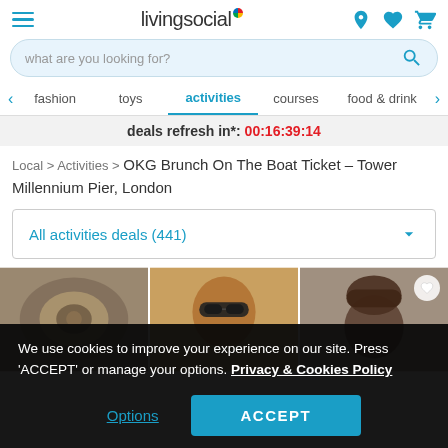livingsocial — navigation header with hamburger menu, logo, location, wishlist, and cart icons
what are you looking for?
fashion | toys | activities | courses | food & drink
deals refresh in*: 00:16:39:14
Local > Activities > OKG Brunch On The Boat Ticket – Tower Millennium Pier, London
All activities deals (441)
[Figure (photo): Three cropped photos of people side by side — decorative jewelry, a person with sunglasses, and a person with styled hair]
We use cookies to improve your experience on our site. Press 'ACCEPT' or manage your options. Privacy & Cookies Policy
Options    ACCEPT